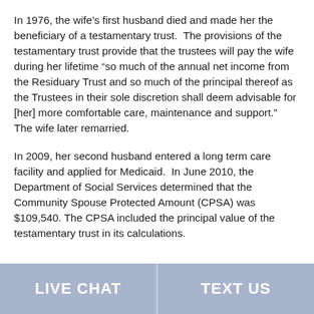In 1976, the wife’s first husband died and made her the beneficiary of a testamentary trust.  The provisions of the testamentary trust provide that the trustees will pay the wife during her lifetime “so much of the annual net income from the Residuary Trust and so much of the principal thereof as the Trustees in their sole discretion shall deem advisable for [her] more comfortable care, maintenance and support.”  The wife later remarried.
In 2009, her second husband entered a long term care facility and applied for Medicaid.  In June 2010, the Department of Social Services determined that the Community Spouse Protected Amount (CPSA) was $109,540. The CPSA included the principal value of the testamentary trust in its calculations.
LIVE CHAT | TEXT US